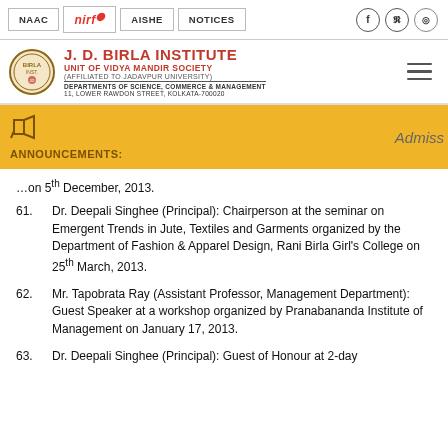NAAC | NIRF | AISHE | NOTICES
J. D. BIRLA INSTITUTE UNIT OF VIDYA MANDIR SOCIETY (AFFILIATED TO JADAVPUR UNIVERSITY) DEPARTMENTS OF SCIENCE, COMMERCE & MANAGEMENT 11, LOWER RAWDON STREET, KOLKATA-700020
ANNOUNCEMENTS:
...on 5th December, 2013.
61. Dr. Deepali Singhee (Principal): Chairperson at the seminar on Emergent Trends in Jute, Textiles and Garments organized by the Department of Fashion & Apparel Design, Rani Birla Girl's College on 25th March, 2013.
62. Mr. Tapobrata Ray (Assistant Professor, Management Department): Guest Speaker at a workshop organized by Pranabananda Institute of Management on January 17, 2013.
63. Dr. Deepali Singhee (Principal): Guest of Honour at 2-day...